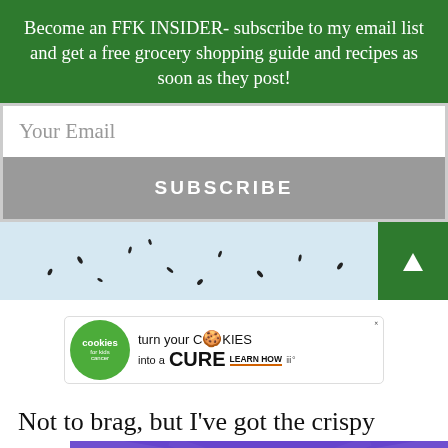Become an FFK INSIDER- subscribe to my email list and get a free grocery shopping guide and recipes as soon as they post!
Your Email
SUBSCRIBE
[Figure (photo): Partial photo of what appears to be a light blue/white surface with small dark specks (sesame or poppy seeds), with a green triangle/arrow button on the right side.]
[Figure (other): Advertisement banner: Cookies for Kids Cancer - 'turn your COOKIES into a CURE LEARN HOW' with cookie logo and Mediavine branding.]
Not to brag, but I've got the crispy
[Figure (other): Bottom advertisement banner with purple background showing text 'This isn't forever. It's just right now.' in orange italic text, with partial text visible on left side and X close button.]